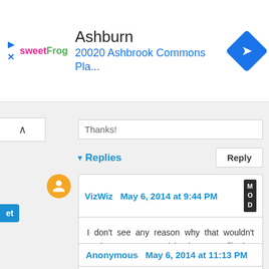[Figure (screenshot): Ad banner showing sweetFrog logo, Ashburn location, and 20020 Ashbrook Commons Pla... address with navigation arrow icon]
Thanks!
▾ Replies
VizWiz May 6, 2014 at 9:44 PM MOD
I don't see any reason why that wouldn't work. Here's a KB article about URL filtering - http://kb.tableausoftware.com/articles/knowledgebase/view-filters-url
Anonymous May 6, 2014 at 11:13 PM